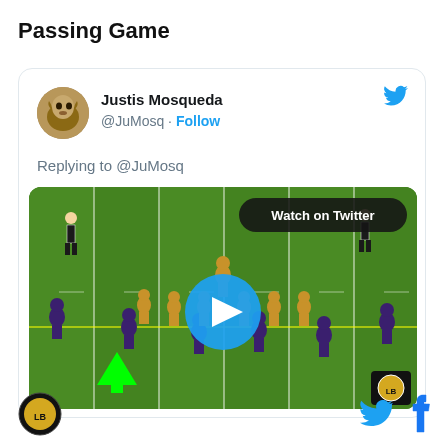Passing Game
[Figure (screenshot): Embedded tweet from @JuMosq (Justis Mosqueda) replying to @JuMosq, containing an NFL football game video thumbnail showing players on a green field with a 'Watch on Twitter' badge and a play button overlay, with a green arrow marker on the field.]